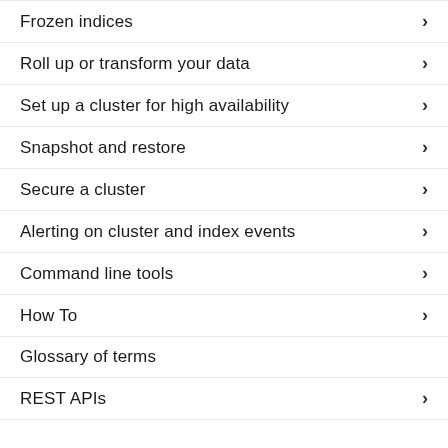Frozen indices
Roll up or transform your data
Set up a cluster for high availability
Snapshot and restore
Secure a cluster
Alerting on cluster and index events
Command line tools
How To
Glossary of terms
REST APIs